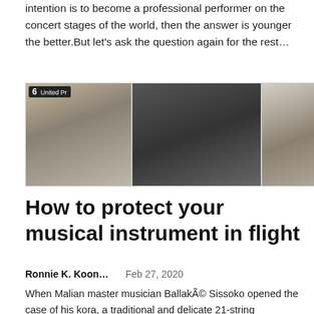intention is to become a professional performer on the concert stages of the world, then the answer is younger the better.But let’s ask the question again for the rest…
[Figure (photo): A collage of three photos showing musicians traveling with instruments, including a guitarist at what appears to be an airport (United Press sign visible), a person with long dark hair holding a guitar, and a blonde person in a black jacket.]
How to protect your musical instrument in flight
Ronnie K. Koon...    Feb 27, 2020
When Malian master musician Ballaké Sissoko opened the case of his kora, a traditional and delicate 21-string instrument, after a flight in early February from New York to Paris, he was devastated by what he found....